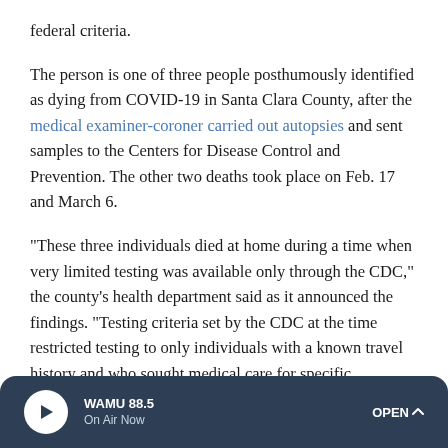federal criteria.
The person is one of three people posthumously identified as dying from COVID-19 in Santa Clara County, after the medical examiner-coroner carried out autopsies and sent samples to the Centers for Disease Control and Prevention. The other two deaths took place on Feb. 17 and March 6.
"These three individuals died at home during a time when very limited testing was available only through the CDC," the county's health department said as it announced the findings. "Testing criteria set by the CDC at the time restricted testing to only individuals with a known travel history and who sought medical care for specific symptoms."
WAMU 88.5 | On Air Now | OPEN